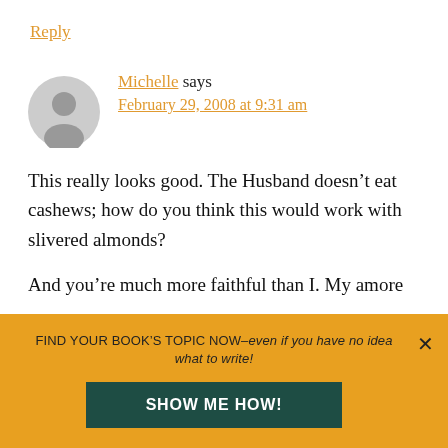Reply
Michelle says
February 29, 2008 at 9:31 am
This really looks good. The Husband doesn’t eat cashews; how do you think this would work with slivered almonds?
And you’re much more faithful than I. My amore
FIND YOUR BOOK’S TOPIC NOW–even if you have no idea what to write!
SHOW ME HOW!